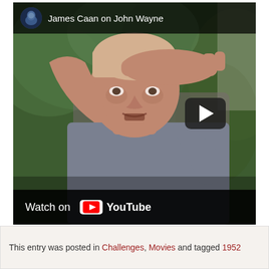[Figure (screenshot): YouTube video thumbnail showing a man named James Caan gesturing with his hand raised to his forehead, speaking outdoors with greenery in background. Video title reads 'James Caan on John Wayne'. Shows YouTube play button and 'Watch on YouTube' bar at bottom.]
This entry was posted in Challenges, Movies and tagged 1952